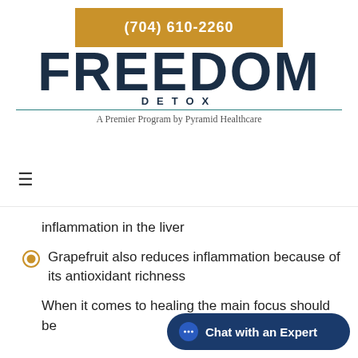(704) 610-2260 | FREEDOM DETOX | A Premier Program by Pyramid Healthcare
inflammation in the liver
Grapefruit also reduces inflammation because of its antioxidant richness
When it comes to healing the main focus should be